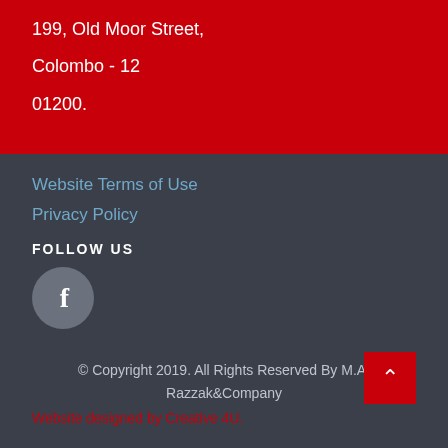199, Old Moor Street,
Colombo - 12
01200.
Website Terms of Use
Privacy Policy
FOLLOW US
[Figure (illustration): Facebook social media circle icon button in gray with white 'f' letter]
© Copyright 2019. All Rights Reserved By M.A. Razzak&Company
Website designed by Creative 4U.